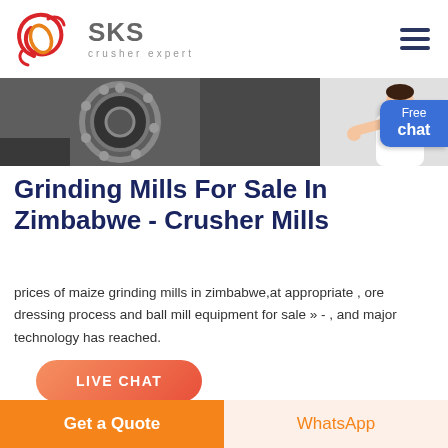[Figure (logo): SKS Crusher Expert logo with red swirl graphic and grey SKS text with 'crusher expert' tagline]
[Figure (photo): Industrial machinery/grinding mill equipment photo in greyscale]
[Figure (photo): Customer service representative avatar with pointing gesture]
Grinding Mills For Sale In Zimbabwe - Crusher Mills
prices of maize grinding mills in zimbabwe,at appropriate , ore dressing process and ball mill equipment for sale » - , and major technology has reached.
[Figure (other): LIVE CHAT orange gradient pill button]
[Figure (photo): Partial bottom image strip of industrial machinery]
Get a Quote
WhatsApp